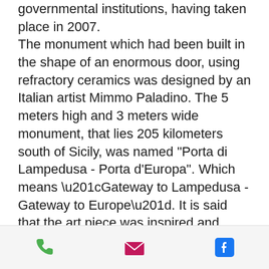governmental institutions, having taken place in 2007. The monument which had been built in the shape of an enormous door, using refractory ceramics was designed by an Italian artist Mimmo Paladino. The 5 meters high and 3 meters wide monument, that lies 205 kilometers south of Sicily, was named "Porta di Lampedusa - Porta d'Europa". Which means “Gateway to Lampedusa - Gateway to Europe”. It is said that the art piece was inspired and signifies the events of thousands of migrants who tried to overcome difficulties, with the desperate desire to let their feet touch the grounds of Europe
phone | email | facebook